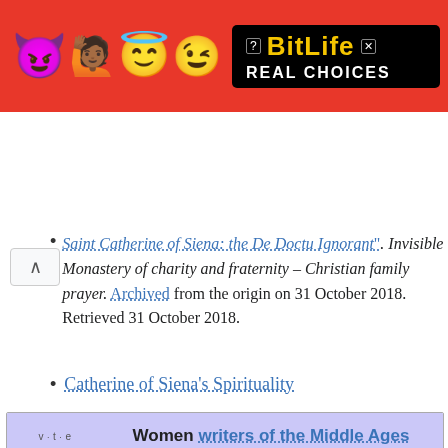[Figure (illustration): BitLife mobile game advertisement banner with emoji characters (devil, person with raised hands, angel face, winking face) on red background, with BitLife logo and 'REAL CHOICES' text on black background]
Saint Catherine of Siena: the De Doctu Ignorant". Invisible Monastery of charity and fraternity – Christian family prayer. Archived from the origin on 31 October 2018. Retrieved 31 October 2018.
Catherine of Siena's Spirituality
| v·t·e | Women writers of the Middle Ages |
| --- | --- |
| 8th century | Khosrovidukht . Sahakdukht . |
| 9th century | Kassia . |